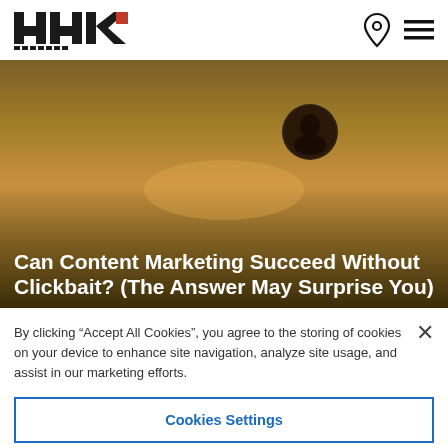HHK logo navigation bar with location pin icon and hamburger menu
[Figure (photo): Hero image with warm golden-brown sunset background and a small circular avatar image in upper right area]
Can Content Marketing Succeed Without Clickbait? (The Answer May Surprise You)
By clicking “Accept All Cookies”, you agree to the storing of cookies on your device to enhance site navigation, analyze site usage, and assist in our marketing efforts.
Cookies Settings
Reject All